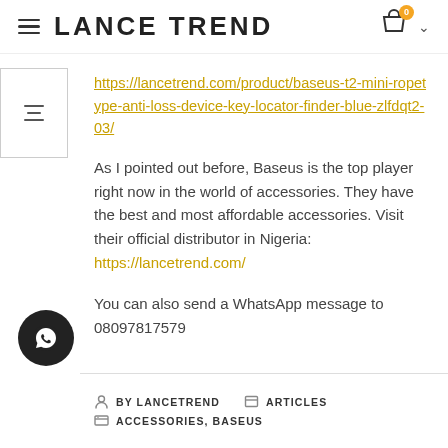LANCE TREND
https://lancetrend.com/product/baseus-t2-mini-ropetype-anti-loss-device-key-locator-finder-blue-zlfdqt2-03/
As I pointed out before, Baseus is the top player right now in the world of accessories. They have the best and most affordable accessories. Visit their official distributor in Nigeria: https://lancetrend.com/
You can also send a WhatsApp message to 08097817579
BY LANCETREND   ARTICLES   ACCESSORIES, BASEUS